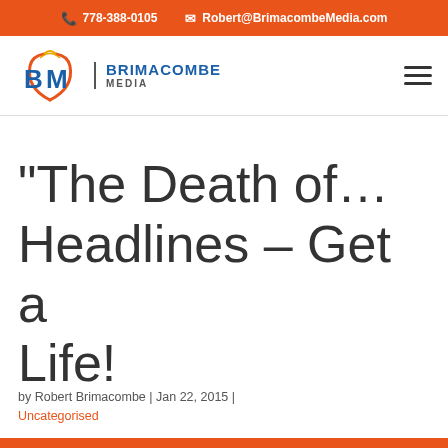778-388-0105   Robert@BrimacombeMedia.com
[Figure (logo): Brimacombe Media logo with BM letters and signal waves icon]
“The Death of… Headlines – Get a Life!
by Robert Brimacombe | Jan 22, 2015 | Uncategorised